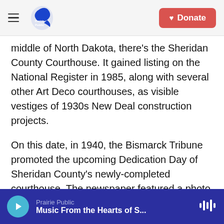Prairie Public | Donate
middle of North Dakota, there’s the Sheridan County Courthouse. It gained listing on the National Register in 1985, along with several other Art Deco courthouses, as visible vestiges of 1930s New Deal construction projects.
On this date, in 1940, the Bismarck Tribune promoted the upcoming Dedication Day of Sheridan County’s newly-completed courthouse. The newspaper featured a photo of the three-story courthouse, showing its imposing concrete face with Art Deco features.
Prairie Public | Music From the Hearts of S...